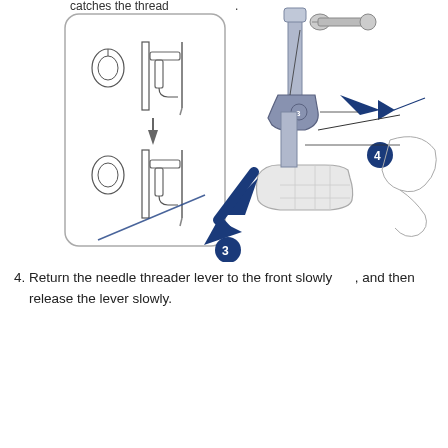[Figure (engineering-diagram): Sewing machine needle threader diagram showing two steps in an inset box (top: needle threader hook near needle, bottom: thread caught through needle eye with diagonal line showing thread path) and a main diagram of sewing machine presser foot area with numbered callouts 3 and 4, blue arrows indicating movement directions.]
4. Return the needle threader lever to the front slowly , and then release the lever slowly.